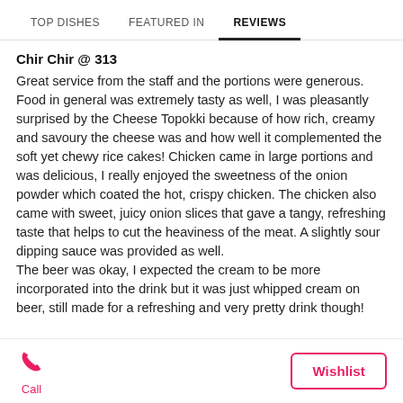TOP DISHES   FEATURED IN   REVIEWS
Chir Chir @ 313
Great service from the staff and the portions were generous. Food in general was extremely tasty as well, I was pleasantly surprised by the Cheese Topokki because of how rich, creamy and savoury the cheese was and how well it complemented the soft yet chewy rice cakes! Chicken came in large portions and was delicious, I really enjoyed the sweetness of the onion powder which coated the hot, crispy chicken. The chicken also came with sweet, juicy onion slices that gave a tangy, refreshing taste that helps to cut the heaviness of the meat. A slightly sour dipping sauce was provided as well.
The beer was okay, I expected the cream to be more incorporated into the drink but it was just whipped cream on beer, still made for a refreshing and very pretty drink though!
Call   Wishlist